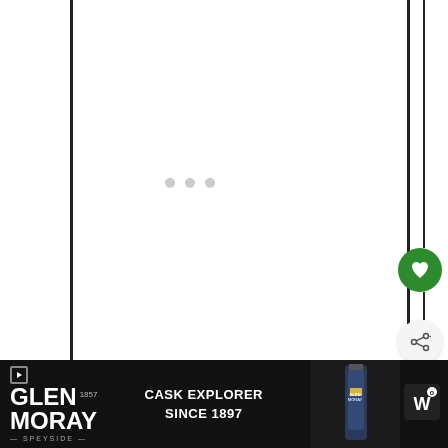[Figure (screenshot): Website screenshot showing a content loading area with three gray dots indicating loading state, a green heart/favorite button, a share button, a 'WHAT'S NEXT' card showing 'Caprese Pasta Salad (+ video)', and a Glen Moray Speyside whisky advertisement banner at the bottom reading 'CASK EXPLORER SINCE 1897'.]
WHAT'S NEXT → Caprese Pasta Salad (+ video)
GLEN MORAY SPEYSIDE 1897 CASK EXPLORER SINCE 1897